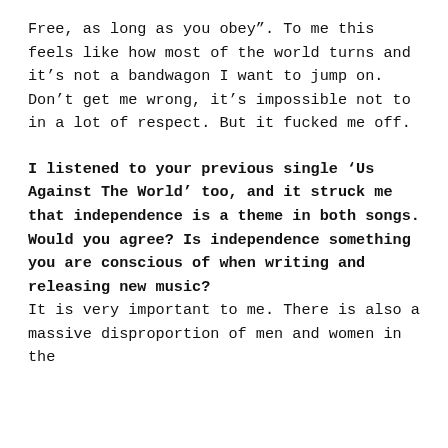Free, as long as you obey". To me this feels like how most of the world turns and it’s not a bandwagon I want to jump on. Don’t get me wrong, it’s impossible not to in a lot of respect. But it fucked me off.
I listened to your previous single ‘Us Against The World’ too, and it struck me that independence is a theme in both songs. Would you agree? Is independence something you are conscious of when writing and releasing new music?
It is very important to me. There is also a massive disproportion of men and women in the